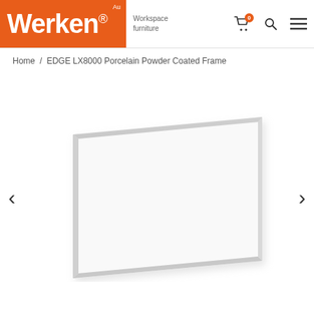[Figure (logo): Werken® Au workspace furniture logo — orange/red background with white bold Werken® text, plus Workspace furniture tagline in grey]
Home / EDGE LX8000 Porcelain Powder Coated Frame
[Figure (photo): Product image of a white rectangular whiteboard panel with a light grey/silver slim frame, shown at a slight perspective angle on a white background. Left and right navigation arrows are visible on either side.]